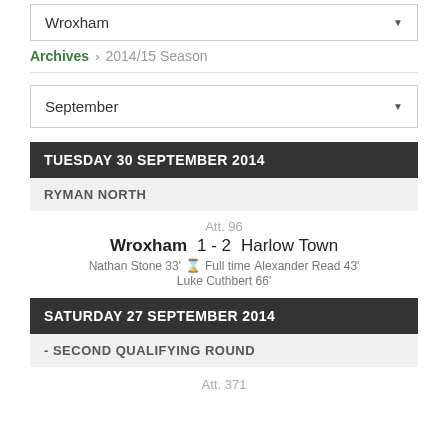Wroxham
Archives > 2014/15 Season
September
TUESDAY 30 SEPTEMBER 2014
RYMAN NORTH
Att. 96
Wroxham  1 - 2  Harlow Town
Nathan Stone 33' ⌛ Full time Alexander Read 43'
Luke Cuthbert 66'
SATURDAY 27 SEPTEMBER 2014
- SECOND QUALIFYING ROUND
Att. 371